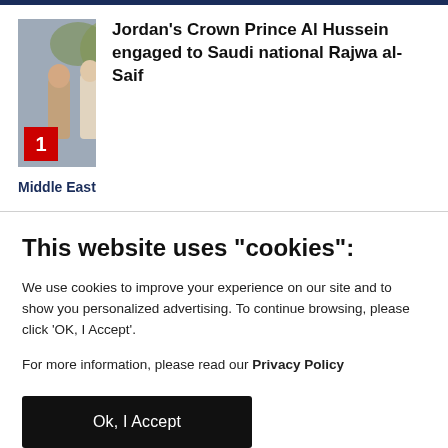[Figure (photo): Thumbnail photo of people in Middle Eastern dress, with a red badge showing number 1 in the bottom-left corner.]
Jordan's Crown Prince Al Hussein engaged to Saudi national Rajwa al-Saif
Middle East
This website uses "cookies":
We use cookies to improve your experience on our site and to show you personalized advertising. To continue browsing, please click 'OK, I Accept'.
For more information, please read our Privacy Policy
Ok, I Accept